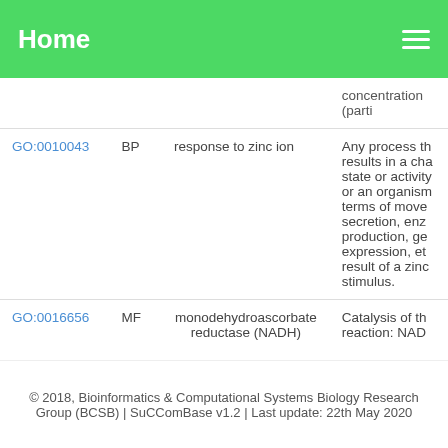Home
| GO ID | NS | Name | Description |
| --- | --- | --- | --- |
|  |  |  | concentration (parti |
| GO:0010043 | BP | response to zinc ion | Any process th results in a cha state or activity or an organism terms of move secretion, enz production, ge expression, et result of a zinc stimulus. |
| GO:0016656 | MF | monodehydroascorbate reductase (NADH) | Catalysis of th reaction: NAD |
© 2018, Bioinformatics & Computational Systems Biology Research Group (BCSB) | SuCComBase v1.2 | Last update: 22th May 2020